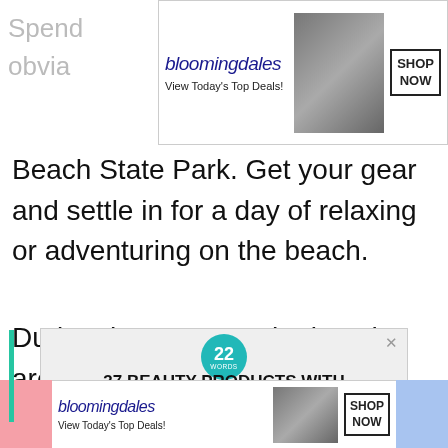[Figure (screenshot): Bloomingdale's advertisement banner at top: logo, 'View Today's Top Deals!', woman in hat photo, SHOP NOW button]
Spend... obvia...
Beach State Park. Get your gear and settle in for a day of relaxing or adventuring on the beach.
During the summer, the beach area just north of the pier has lifeguards on duty. Perfect for nervous swimmers.
[Figure (screenshot): 22 Words popup ad: '37 BEAUTY PRODUCTS WITH... SUCH GOOD REVIEWS...' with close button, teal vertical bar on left]
[Figure (screenshot): Bloomingdale's advertisement banner at bottom: logo, 'View Today's Top Deals!', woman in hat photo, SHOP NOW button. Pink block left, blue block right.]